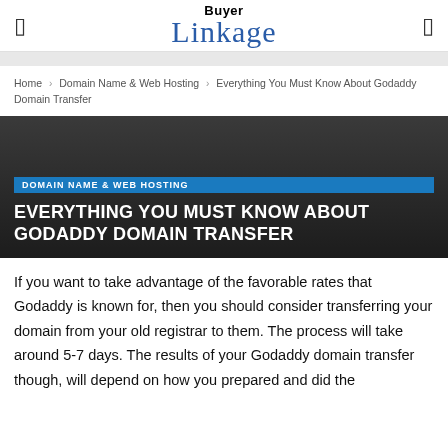Buyer Linkage
Home › Domain Name & Web Hosting › Everything You Must Know About Godaddy Domain Transfer
[Figure (illustration): Dark gradient hero banner background for article]
DOMAIN NAME & WEB HOSTING
EVERYTHING YOU MUST KNOW ABOUT GODADDY DOMAIN TRANSFER
If you want to take advantage of the favorable rates that Godaddy is known for, then you should consider transferring your domain from your old registrar to them. The process will take around 5-7 days. The results of your Godaddy domain transfer though, will depend on how you prepared and did the